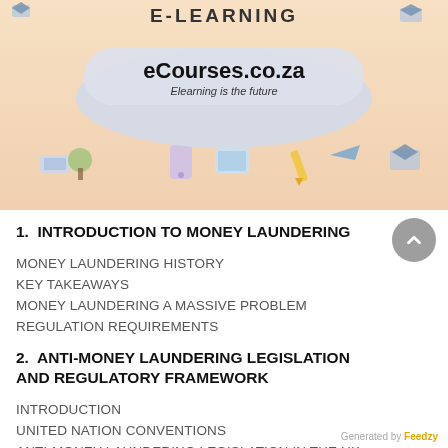[Figure (illustration): E-Learning banner with colorful educational icons (graduation cap, books, devices, arrows) on a warm beige/pink background. Contains a cloud-shaped gray overlay with 'eCourses.co.za' and tagline 'Elearning is the future'. Text at top reads 'E-LEARNING'.]
1. INTRODUCTION TO MONEY LAUNDERING
MONEY LAUNDERING HISTORY
KEY TAKEAWAYS
MONEY LAUNDERING A MASSIVE PROBLEM
REGULATION REQUIREMENTS
2. ANTI-MONEY LAUNDERING LEGISLATION AND REGULATORY FRAMEWORK
INTRODUCTION
UNITED NATION CONVENTIONS
ANTI-MONEY LAUNDERING LEGISLATION IN THE UK
3. ANTI-MONEY LAUNDERING ORGANISATIONS RESPONSIBILITIES